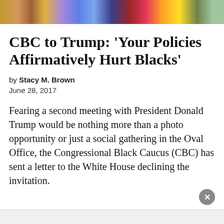[Figure (photo): Photo strip at the top showing several people, partially cropped]
CBC to Trump: ‘Your Policies Affirmatively Hurt Blacks’
by Stacy M. Brown
June 28, 2017
Fearing a second meeting with President Donald Trump would be nothing more than a photo opportunity or just a social gathering in the Oval Office, the Congressional Black Caucus (CBC) has sent a letter to the White House declining the invitation.